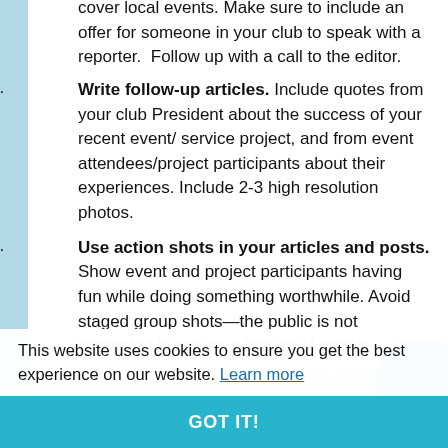cover local events. Make sure to include an offer for someone in your club to speak with a reporter.  Follow up with a call to the editor.
7. Write follow-up articles. Include quotes from your club President about the success of your recent event/ service project, and from event attendees/project participants about their experiences. Include 2-3 high resolution photos.
8. Use action shots in your articles and posts. Show event and project participants having fun while doing something worthwhile. Avoid staged group shots—the public is not interested in seeing a line-up of people
because 'check's holding plaques, they
9. Focus your Issue. Take stand on something your members and your community care deeply about, such as education, social justice, or the environment. Partner with like-minded
This website uses cookies to ensure you get the best experience on our website. Learn more
GOT IT!